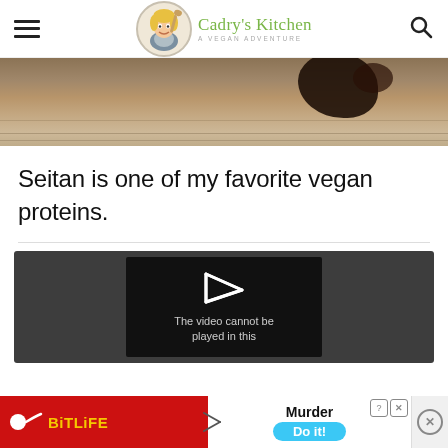Cadry's Kitchen – A Vegan Adventure
[Figure (photo): Close-up photo of dark cooked seitan on a wooden surface]
Seitan is one of my favorite vegan proteins.
[Figure (screenshot): Video player showing 'The video cannot be played in this' error message with a play arrow icon]
[Figure (other): Advertisement banner for BitLife game showing 'Murder Do it!' with red background and blue button]